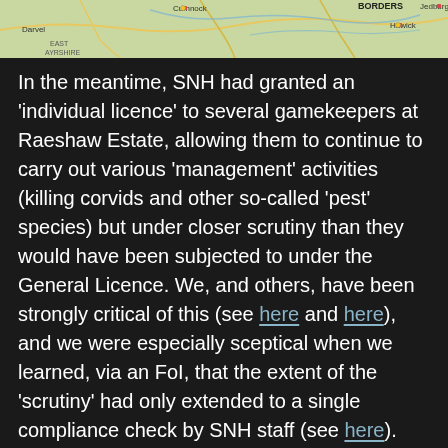[Figure (map): Partial map showing parts of Scotland including labels for Borders, Hawick, Cumnock, Darvel, East Ayrshire regions with roads and rivers.]
In the meantime, SNH had granted an 'individual licence' to several gamekeepers at Raeshaw Estate, allowing them to continue to carry out various 'management' activities (killing corvids and other so-called 'pest' species) but under closer scrutiny than they would have been subjected to under the General Licence. We, and others, have been strongly critical of this (see here and here), and we were especially sceptical when we learned, via an FoI, that the extent of the 'scrutiny' had only extended to a single compliance check by SNH staff (see here). However, having read the full details of the Judicial Review, it became apparent to us